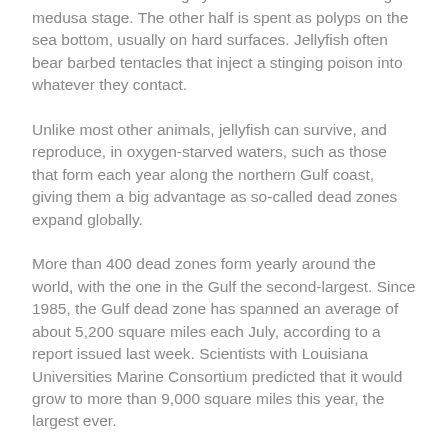Jellyfish aren't actually fish. They are simple marine creatures that live roughly half their lives in a floating medusa stage. The other half is spent as polyps on the sea bottom, usually on hard surfaces. Jellyfish often bear barbed tentacles that inject a stinging poison into whatever they contact.
Unlike most other animals, jellyfish can survive, and reproduce, in oxygen-starved waters, such as those that form each year along the northern Gulf coast, giving them a big advantage as so-called dead zones expand globally.
More than 400 dead zones form yearly around the world, with the one in the Gulf the second-largest. Since 1985, the Gulf dead zone has spanned an average of about 5,200 square miles each July, according to a report issued last week. Scientists with Louisiana Universities Marine Consortium predicted that it would grow to more than 9,000 square miles this year, the largest ever.
Most animals cannot survive in such low-oxygen conditions. They swim away or perish. Jellyfish, however, don't mind the hostile environment.
Jellyfish taking over a dead zone is probably beneficial, to a point,